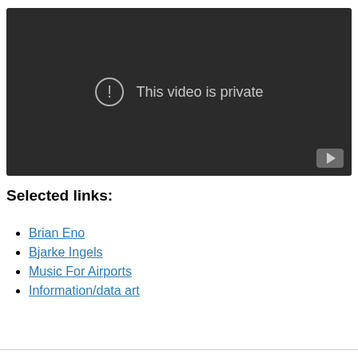[Figure (screenshot): Embedded video player showing 'This video is private' message on a dark background with a YouTube play button icon in the bottom right corner.]
Selected links:
Brian Eno
Bjarke Ingels
Music For Airports
Information/data art